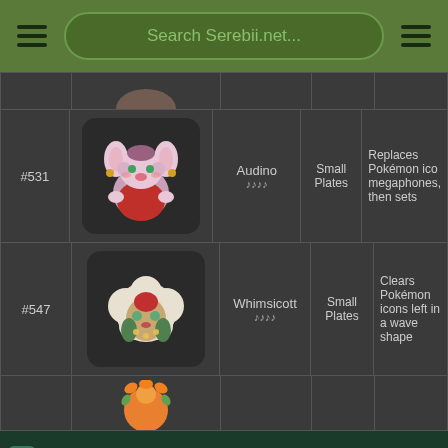Search Serebii.net...
| # | Image | Name | Type | Description |
| --- | --- | --- | --- | --- |
| #531 | [Audino image] | Audino ♪♪♪♪ | Small Plates | Replaces Pokémon icons megaphones, then sets |
| #547 | [Whimsicott image] | Whimsicott ♪♪♪♪ | Small Plates | Clears Pokémon icons left in a wave shape |
[Figure (screenshot): Partial Pokémon row at bottom (orange Pokémon, partially visible)]
tally
credit card payoff
Download Now